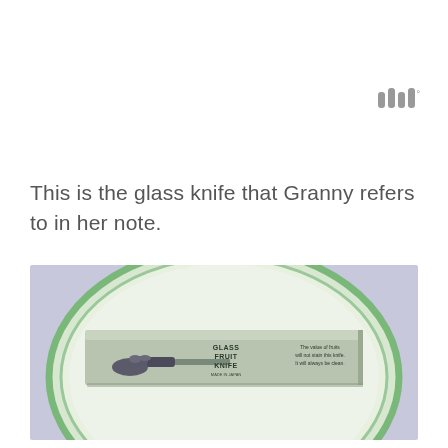[Figure (logo): Four vertical bars logo with a small degree/circle symbol, in gray]
This is the glass knife that Granny refers to in her note.
[Figure (photo): A photograph of a vintage Glass Fruit Knife in its original box, placed on a round green glass plate on a light purple cloth. The box is cardboard, labeled 'GLASS FRUIT KNIFE' with an illustration of a hand holding a knife and text on the right side.]